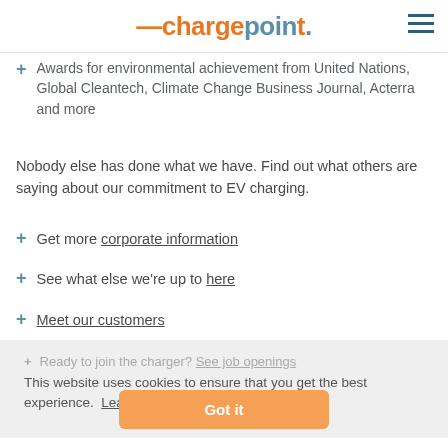-chargepoint+ [logo with hamburger menu]
Awards for environmental achievement from United Nations, Global Cleantech, Climate Change Business Journal, Acterra and more
Nobody else has done what we have. Find out what others are saying about our commitment to EV charging.
+ Get more corporate information
+ See what else we're up to here
+ Meet our customers
+ Ready to join the charger? See job openings
This website uses cookies to ensure that you get the best experience. Learn more
Got it